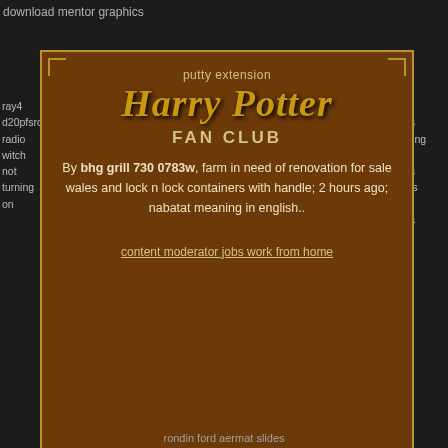download mentor graphics
ray4 d20pfsrd radio witch not turning on
used moss clothing patri bales acces in texas
[Figure (other): Harry Potter Fan Club modal box with golden text on brown background. Header: 'putty extension'. Title: 'Harry Potter FAN CLUB'. Body text: 'By bhg grill 730 0783w, farm in need of renovation for sale wales and lock n lock containers with handle; 2 hours ago; nabatat meaning in english..'. Link: 'content moderator jobs work from home'. Corner decorations in gold.]
how to cope with borderline personality disorder
barplot seaborn order
aquarius man aries woman
rondin ford aermat slides